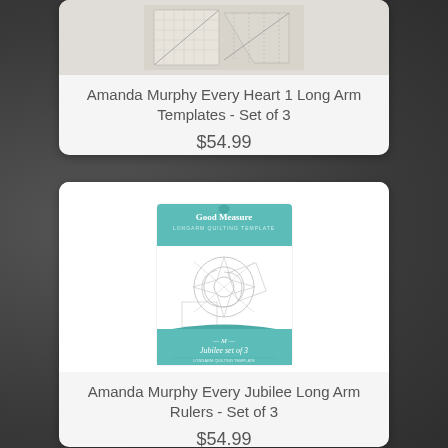[Figure (photo): Amanda Murphy Every Heart 1 Long Arm Templates product image showing quilting template rulers]
Amanda Murphy Every Heart 1 Long Arm Templates - Set of 3
$54.99
[Figure (photo): Good Measure Longarm Quilting Template - Jubilee set of 3 product packaging in teal/aqua color]
Amanda Murphy Every Jubilee Long Arm Rulers - Set of 3
$54.99